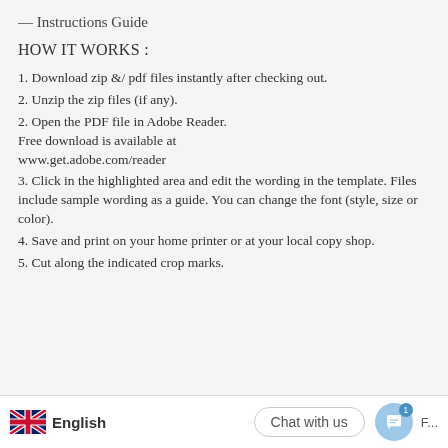— Instructions Guide
HOW IT WORKS :
1. Download zip &/ pdf files instantly after checking out.
2. Unzip the zip files (if any).
2. Open the PDF file in Adobe Reader. Free download is available at www.get.adobe.com/reader
3. Click in the highlighted area and edit the wording in the template. Files include sample wording as a guide. You can change the font (style, size or color).
4. Save and print on your home printer or at your local copy shop.
5. Cut along the indicated crop marks.
English   Chat with us   F...